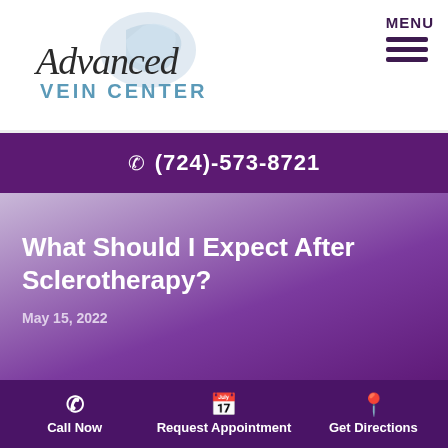[Figure (logo): Advanced Vein Center logo with script 'Advanced' text and blue 'VEIN CENTER' below, with a dove/feather graphic]
MENU
(724)-573-8721
What Should I Expect After Sclerotherapy?
May 15, 2022
What Should I Expect After
Call Now | Request Appointment | Get Directions